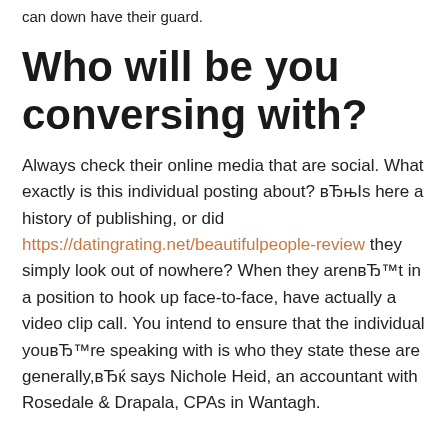can down have their guard.
Who will be you conversing with?
Always check their online media that are social. What exactly is this individual posting about? вЂњIs here a history of publishing, or did https://datingrating.net/beautifulpeople-review they simply look out of nowhere? When they arenвЂ™t in a position to hook up face-to-face, have actually a video clip call. You intend to ensure that the individual youвЂ™re speaking with is who they state these are generally,вЂќ says Nichole Heid, an accountant with Rosedale & Drapala, CPAs in Wantagh.